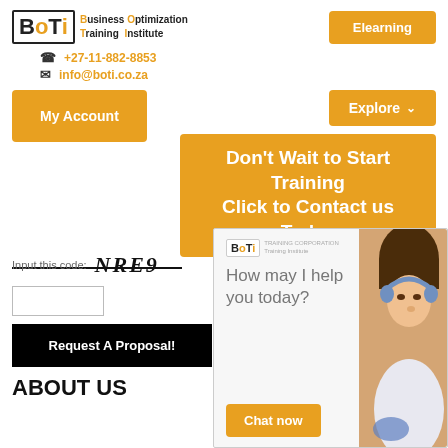[Figure (logo): BOTI Business Optimization Training Institute logo with orange and black lettering]
Elearning
+27-11-882-8853
info@boti.co.za
My Account
Explore
Don't Wait to Start Training Click to Contact us Today
Input this code:  NRE9
Request A Proposal!
[Figure (screenshot): BOTI chat widget with logo, 'How may I help you today?' text, customer service photo, and Chat now button]
ABOUT US